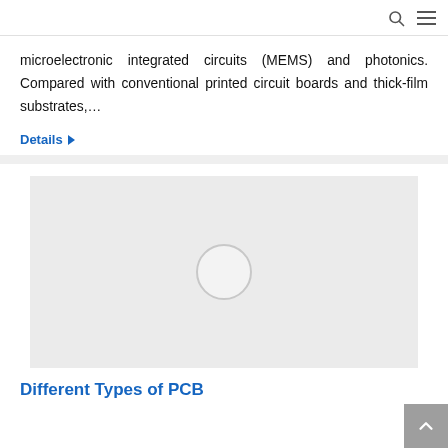microelectronic integrated circuits (MEMS) and photonics. Compared with conventional printed circuit boards and thick-film substrates,…
Details ▶
[Figure (other): Gray placeholder image with a circular loading indicator in the center, indicating an image that has not yet loaded.]
Different Types of PCB